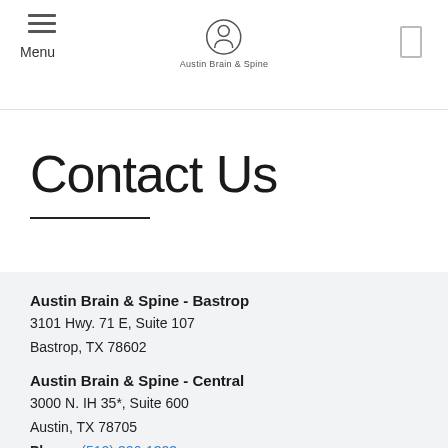Menu | Austin Brain & Spine
Contact Us
Austin Brain & Spine - Bastrop
3101 Hwy. 71 E, Suite 107
Bastrop, TX 78602
Austin Brain & Spine - Central
3000 N. IH 35*, Suite 600
Austin, TX 78705
Phone: (512) 306-1323
Fax: (512) 306-1142
* Patients should be directed to park in Garage 2, entrance off of 30th and